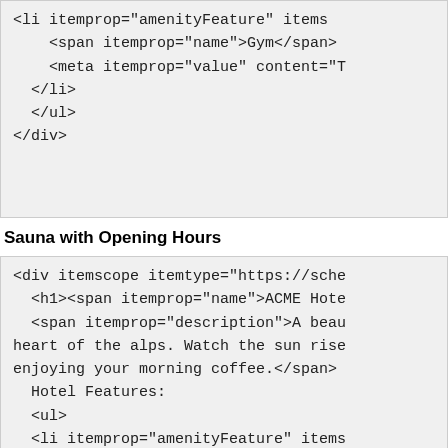<li itemprop="amenityFeature" items
    <span itemprop="name">Gym</span>
    <meta itemprop="value" content="T
  </li>
  </ul>
</div>
Sauna with Opening Hours
<div itemscope itemtype="https://sche
  <h1><span itemprop="name">ACME Hote
  <span itemprop="description">A beau
heart of the alps. Watch the sun rise
enjoying your morning coffee.</span>
  Hotel Features:
  <ul>
  <li itemprop="amenityFeature" items